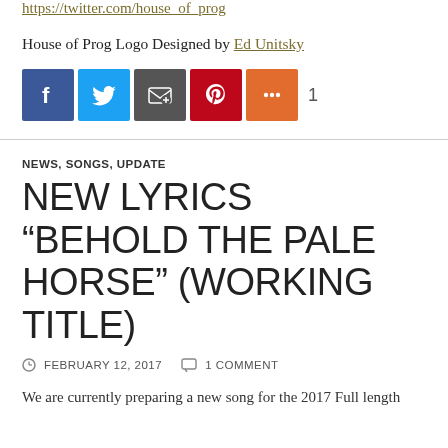https://twitter.com/house_of_prog
House of Prog Logo Designed by Ed Unitsky
[Figure (infographic): Social sharing buttons: Facebook (blue), Twitter (light blue), Email/envelope (dark grey), Pinterest (red), More/plus (orange), share count: 1]
NEWS, SONGS, UPDATE
NEW LYRICS “BEHOLD THE PALE HORSE” (WORKING TITLE)
FEBRUARY 12, 2017   1 COMMENT
We are currently preparing a new song for the 2017 Full length